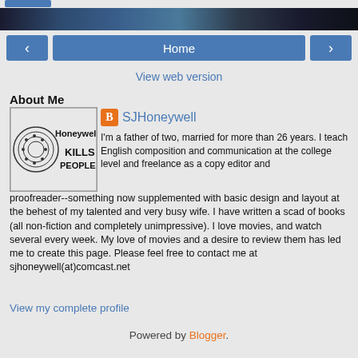[Figure (screenshot): Blue navigation button at top left, partially visible]
[Figure (photo): Dark panoramic banner image of a city skyline]
[Figure (screenshot): Navigation row with left arrow button, Home button, and right arrow button]
View web version
About Me
[Figure (illustration): Profile image: Honeywell Kills People book cover illustration in black and white]
SJHoneywell
I'm a father of two, married for more than 26 years. I teach English composition and communication at the college level and freelance as a copy editor and proofreader--something now supplemented with basic design and layout at the behest of my talented and very busy wife. I have written a scad of books (all non-fiction and completely unimpressive). I love movies, and watch several every week. My love of movies and a desire to review them has led me to create this page. Please feel free to contact me at sjhoneywell(at)comcast.net
View my complete profile
Powered by Blogger.